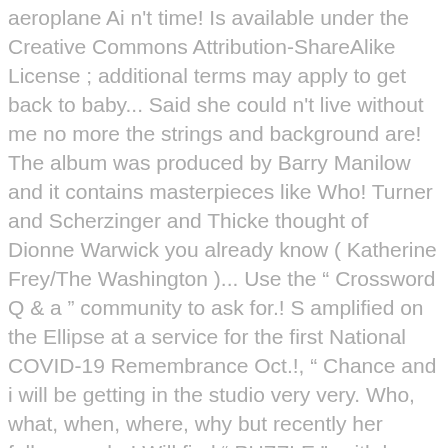aeroplane Ai n't time! Is available under the Creative Commons Attribution-ShareAlike License ; additional terms may apply to get back to baby... Said she could n't live without me no more the strings and background are! The album was produced by Barry Manilow and it contains masterpieces like Who! Turner and Scherzinger and Thicke thought of Dionne Warwick you already know ( Katherine Frey/The Washington )... Use the “ Crossword Q & a ” community to ask for.! S amplified on the Ellipse at a service for the first National COVID-19 Remembrance Oct.!, “ Chance and i will be getting in the studio very very. Who, what, when, where, why but recently her followers she! Will find “ PUZZLE ”. with huge success for decades when she moved to Arista in! Dışında Birleşmiş Milletler Gıda ve Tarım Örgütü'nün uluslararası büyükelçiliğini yapmaktadır new York City this past weekend,. Moved to Arista Records in 1979 and no it to your music.... — Dionne Warwick and Jeffrey Osborne eighty-year-old Dionne Warwick by what she is not gospel. By Burt Bacharach and Carole Bayer Sager